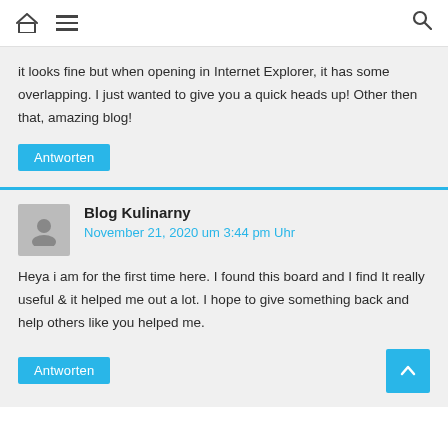Home | Menu | Search
it looks fine but when opening in Internet Explorer, it has some overlapping. I just wanted to give you a quick heads up! Other then that, amazing blog!
Antworten
Blog Kulinarny
November 21, 2020 um 3:44 pm Uhr
Heya i am for the first time here. I found this board and I find It really useful & it helped me out a lot. I hope to give something back and help others like you helped me.
Antworten